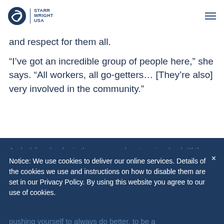Starr Wright USA
and respect for them all.
“I’ve got an incredible group of people here,” she says. “All workers, all go-getters… [They’re also] very involved in the community.”
And while a leader in the agency, she stays involved. “If they [the agents] are out there, I’m out there.”
Notice: We use cookies to deliver our online services. Details of the cookies we use and instructions on how to disable them are set in our Privacy Policy. By using this website you agree to our use of cookies.
When it comes to the harder parts of the job? For her personally, it’s more of a “good challenge”:
pushing yourself to always do better, to be a